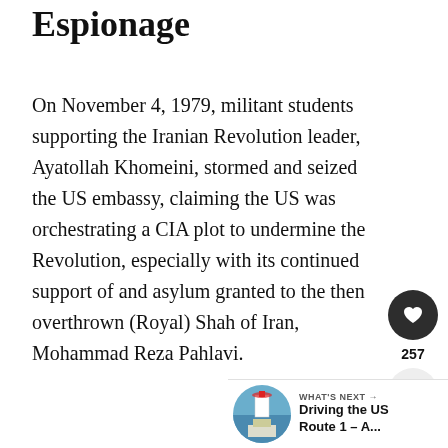Espionage
On November 4, 1979, militant students supporting the Iranian Revolution leader, Ayatollah Khomeini, stormed and seized the US embassy, claiming the US was orchestrating a CIA plot to undermine the Revolution, especially with its continued support of and asylum granted to the then overthrown (Royal) Shah of Iran, Mohammad Reza Pahlavi.
[Figure (other): Like (heart) button icon, dark circular button]
257
[Figure (other): Share button icon, light circular button with share symbol]
[Figure (other): What's Next panel with lighthouse photo thumbnail and text: WHAT'S NEXT → Driving the US Route 1 – A...]